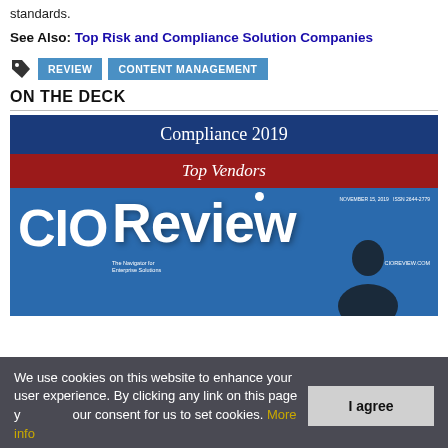standards.
See Also: Top Risk and Compliance Solution Companies
REVIEW
CONTENT MANAGEMENT
ON THE DECK
[Figure (other): CIOReview magazine cover showing 'Compliance 2019 Top Vendors' with blue background and CIOReview logo]
We use cookies on this website to enhance your user experience. By clicking any link on this page you give your consent for us to set cookies. More info